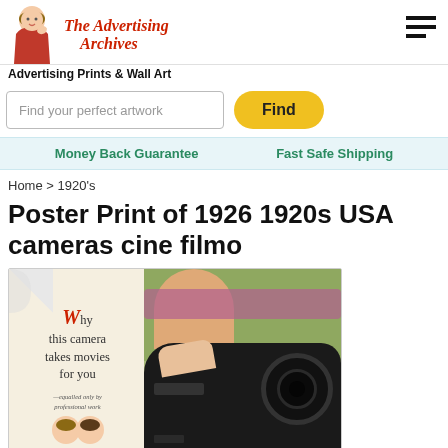[Figure (logo): The Advertising Archives logo with retro woman illustration and cursive red text]
Advertising Prints & Wall Art
Find your perfect artwork
Find
Money Back Guarantee
Fast Safe Shipping
Home > 1920's
Poster Print of 1926 1920s USA cameras cine filmo
[Figure (photo): Vintage 1926 camera advertisement showing retro ad with text 'Why this camera takes movies for you - equalled only by professional work' alongside image of a black cine camera being held]